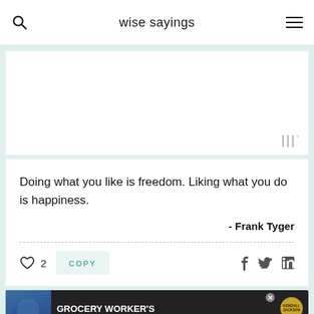wise sayings
[Figure (screenshot): Advertisement placeholder area with watermark logo]
Doing what you like is freedom. Liking what you do is happiness.
- Frank Tyger
2 COPY
[Figure (screenshot): Grocery Worker's Appreciation Fund advertisement banner with Kendall-Jackson and United Way logos]